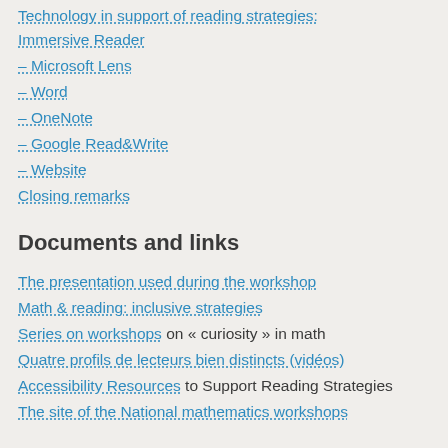Technology in support of reading strategies: Immersive Reader
– Microsoft Lens
– Word
– OneNote
– Google Read&Write
– Website
Closing remarks
Documents and links
The presentation used during the workshop
Math & reading: inclusive strategies
Series on workshops on « curiosity » in math
Quatre profils de lecteurs bien distincts (vidéos)
Accessibility Resources to Support Reading Strategies
The site of the National mathematics workshops